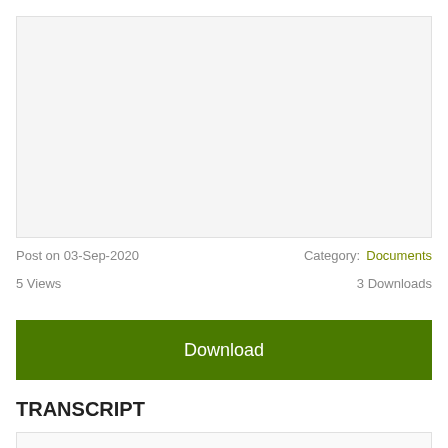[Figure (other): Gray preview/thumbnail area for a document]
Post on 03-Sep-2020
Category: Documents
5 Views
3 Downloads
Download
TRANSCRIPT